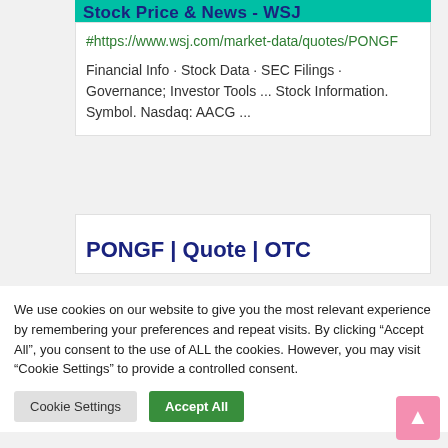Stock Price & News - WSJ
#https://www.wsj.com/market-data/quotes/PONGF
Financial Info · Stock Data · SEC Filings · Governance; Investor Tools ... Stock Information. Symbol. Nasdaq: AACG ...
PONGF | Quote | OTC
We use cookies on our website to give you the most relevant experience by remembering your preferences and repeat visits. By clicking "Accept All", you consent to the use of ALL the cookies. However, you may visit "Cookie Settings" to provide a controlled consent.
Cookie Settings
Accept All